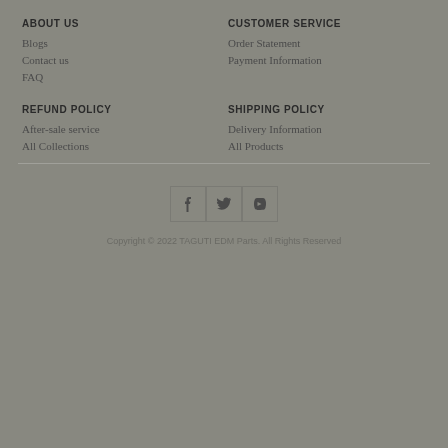ABOUT US
Blogs
Contact us
FAQ
CUSTOMER SERVICE
Order Statement
Payment Information
REFUND POLICY
After-sale service
All Collections
SHIPPING POLICY
Delivery Information
All Products
[Figure (other): Social media icons: Facebook, Twitter, YouTube in bordered boxes]
Copyright © 2022 TAGUTI EDM Parts. All Rights Reserved